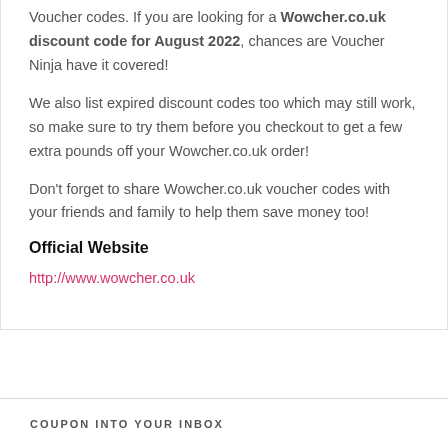Voucher codes. If you are looking for a Wowcher.co.uk discount code for August 2022, chances are Voucher Ninja have it covered!
We also list expired discount codes too which may still work, so make sure to try them before you checkout to get a few extra pounds off your Wowcher.co.uk order!
Don't forget to share Wowcher.co.uk voucher codes with your friends and family to help them save money too!
Official Website
http://www.wowcher.co.uk
COUPON INTO YOUR INBOX